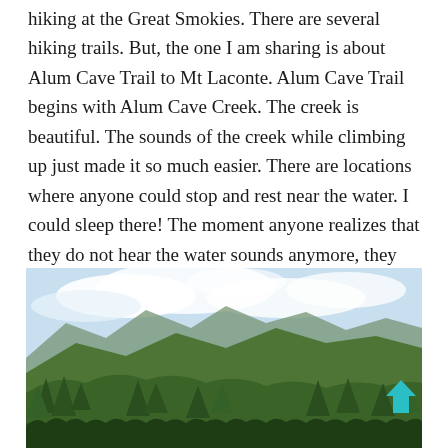hiking at the Great Smokies. There are several hiking trails. But, the one I am sharing is about Alum Cave Trail to Mt Laconte. Alum Cave Trail begins with Alum Cave Creek. The creek is beautiful. The sounds of the creek while climbing up just made it so much easier. There are locations where anyone could stop and rest near the water. I could sleep there! The moment anyone realizes that they do not hear the water sounds anymore, they have climbed higher by now. The trail is 2.7 miles long. By the time we get done with half portion of the trail, we can start seeing the scenic beauty of the smokies.
[Figure (photo): Outdoor photograph showing a scenic mountain landscape with green forested hills and mountains in the background under a partly cloudy sky. A cyan/teal upward-pointing arrow icon is visible in the lower-right area of the image.]